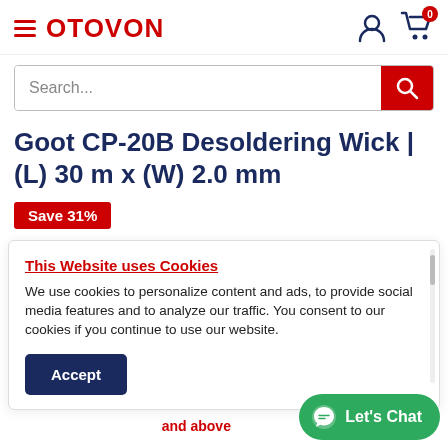OTOVON
Goot CP-20B Desoldering Wick | (L) 30 m x (W) 2.0 mm
Save 31%
GOOT | SKU: 0000276
This Website uses Cookies
We use cookies to personalize content and ads, to provide social media features and to analyze our traffic. You consent to our cookies if you continue to use our website.
Accept
and above
Let's Chat